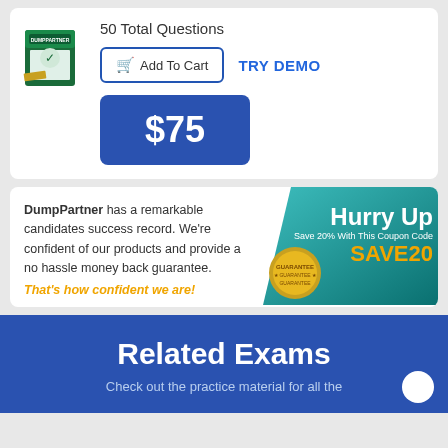50 Total Questions
Add To Cart
TRY DEMO
$75
DumpPartner has a remarkable candidates success record. We're confident of our products and provide a no hassle money back guarantee. That's how confident we are!
[Figure (infographic): Teal promotional banner with Hurry Up text, Save 20% With This Coupon Code, SAVE20 in gold, and a Guarantee badge]
Related Exams
Check out the practice material for all the